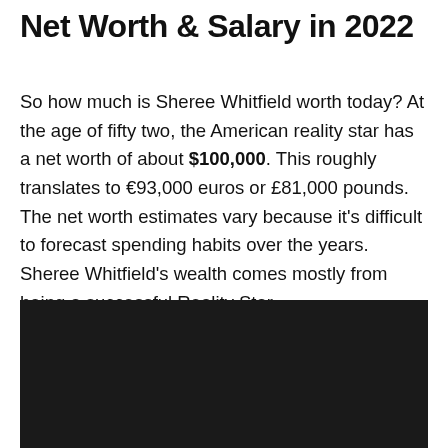Net Worth & Salary in 2022
So how much is Sheree Whitfield worth today? At the age of fifty two, the American reality star has a net worth of about $100,000. This roughly translates to €93,000 euros or £81,000 pounds. The net worth estimates vary because it's difficult to forecast spending habits over the years. Sheree Whitfield's wealth comes mostly from being a successful Reality Star.
[Figure (photo): Dark/black image placeholder, likely a photo of Sheree Whitfield]